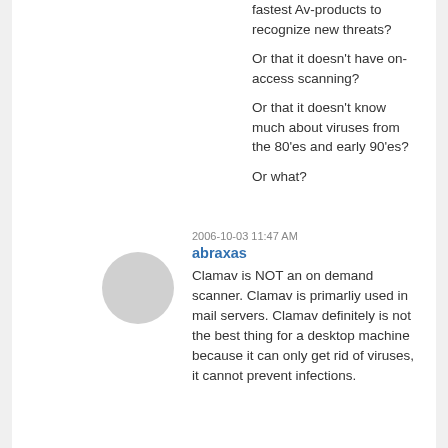fastest Av-products to recognize new threats?
Or that it doesn't have on-access scanning?
Or that it doesn't know much about viruses from the 80'es and early 90'es?
Or what?
2006-10-03 11:47 AM
abraxas
Clamav is NOT an on demand scanner. Clamav is primarliy used in mail servers. Clamav definitely is not the best thing for a desktop machine because it can only get rid of viruses, it cannot prevent infections.